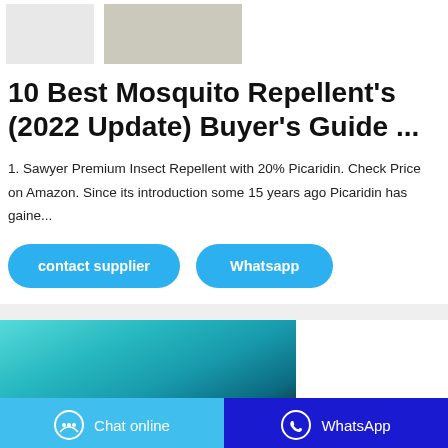[Figure (photo): Two partially visible product images at the top of the page]
10 Best Mosquito Repellent's (2022 Update) Buyer's Guide ...
1. Sawyer Premium Insect Repellent with 20% Picaridin. Check Price on Amazon. Since its introduction some 15 years ago Picaridin has gaine...
[Figure (screenshot): Two blue rounded buttons: 'contact supplier' and 'Whatsapp']
[Figure (photo): Product image with teal/cyan gradient background and dark circular object at bottom]
[Figure (screenshot): Footer bar with two buttons: light blue 'Chat online' and dark blue 'WhatsApp']